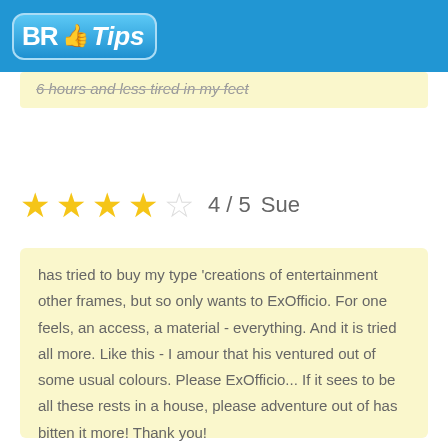BR Tips
6 hours and less tired in my feet
★★★★☆ 4 / 5  Sue
has tried to buy my type 'creations of entertainment other frames, but so only wants to ExOfficio. For one feels, an access, a material - everything. And it is tried all more. Like this - I amour that his ventured out of some usual colours. Please ExOfficio... If it sees to be all these rests in a house, please adventure out of has bitten it more! Thank you!